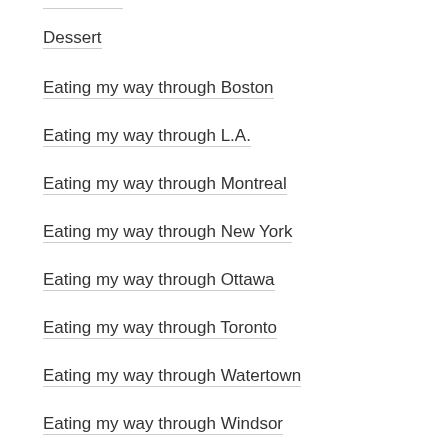Dessert
Eating my way through Boston
Eating my way through L.A.
Eating my way through Montreal
Eating my way through New York
Eating my way through Ottawa
Eating my way through Toronto
Eating my way through Watertown
Eating my way through Windsor
Events
Food Art
French
Fried chicken